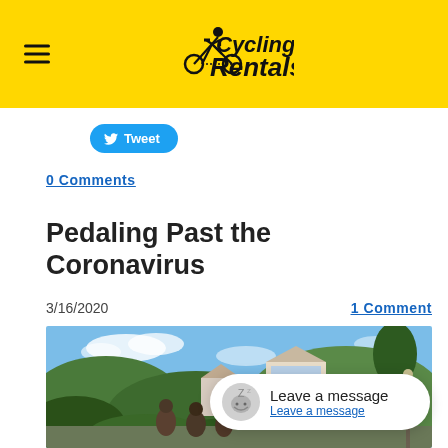Cycling Rentals
Tweet
0 Comments
Pedaling Past the Coronavirus
3/16/2020
1 Comment
[Figure (photo): Group of cyclists riding through a scenic town with greenery and a historic building with blue and white facade in the background under a blue sky.]
Leave a message
Leave a message